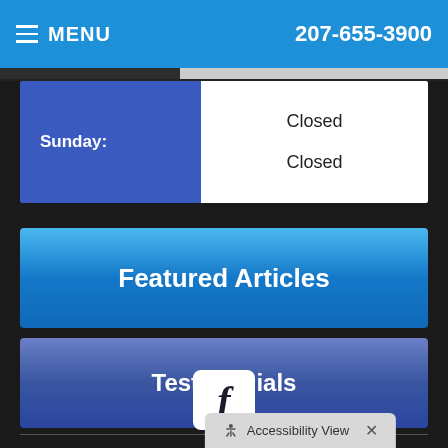MENU  207-655-3900
| Day | Hours |
| --- | --- |
| Sunday: | Closed
Closed |
Featured Articles
Testimonials
[Figure (logo): Facebook icon - white f on white rounded square background]
Accessibility View